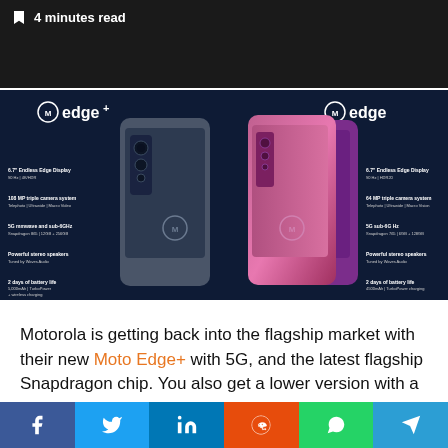🔖 4 minutes read
[Figure (photo): Motorola Edge+ and Motorola Edge smartphones product comparison infographic on dark navy background, showing both phones front and back with spec callouts for each model including display, camera, 5G, speakers, and battery specs.]
Motorola is getting back into the flagship market with their new Moto Edge+ with 5G, and the latest flagship Snapdragon chip. You also get a lower version with a upper midrange chip,
Facebook | Twitter | LinkedIn | Reddit | WhatsApp | Telegram